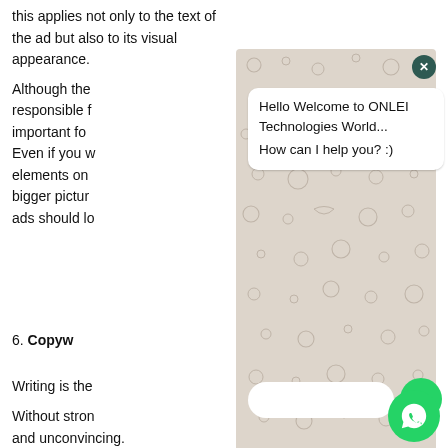this applies not only to the text of the ad but also to its visual appearance.
Although the [text partially obscured] responsible f[or obscured] important fo[r obscured] Even if you w[ant obscured] elements on [obscured] bigger pictur[e obscured] ads should lo[ok obscured]
[Figure (screenshot): WhatsApp chat widget overlay with patterned background showing a chat bubble with text 'Hello Welcome to ONLEI Technologies World... How can I help you? :)' and a message input bar with send button, plus a WhatsApp floating action button]
6. Copyw[riting]
Writing is the [obscured]
Without stron[g obscured] and unconvincing.
When it comes to writing copy, there's a lot of homew[ork that] needs to be done before jotting down your words.
That homework involves understanding who you are writing [for]